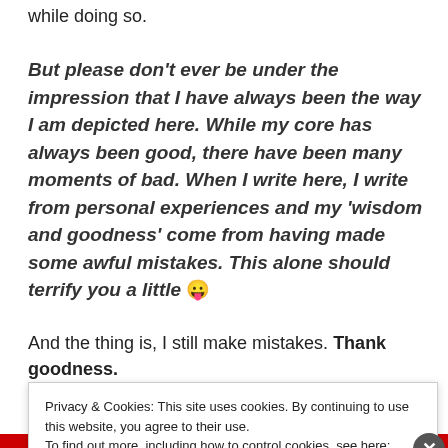while doing so.
But please don't ever be under the impression that I have always been the way I am depicted here. While my core has always been good, there have been many moments of bad. When I write here, I write from personal experiences and my 'wisdom and goodness' come from having made some awful mistakes. This alone should terrify you a little 😛
And the thing is, I still make mistakes. Thank goodness. Or there would be nothing left for me to learn! Some of t...
Privacy & Cookies: This site uses cookies. By continuing to use this website, you agree to their use.
To find out more, including how to control cookies, see here: Cookie Policy
Close and accept